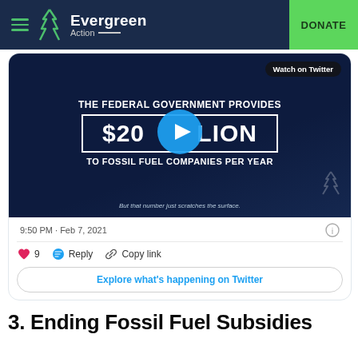Evergreen Action — DONATE
[Figure (screenshot): Embedded tweet with video thumbnail showing text: THE FEDERAL GOVERNMENT PROVIDES $20 BILLION TO FOSSIL FUEL COMPANIES PER YEAR — But that number just scratches the surface. Tweet timestamp: 9:50 PM · Feb 7, 2021. Actions: 9 likes, Reply, Copy link. Button: Explore what's happening on Twitter.]
3. Ending Fossil Fuel Subsidies